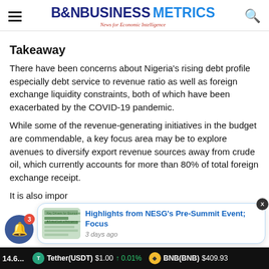B&B Business Metrics — News for Economic Intelligence
Takeaway
There have been concerns about Nigeria's rising debt profile especially debt service to revenue ratio as well as foreign exchange liquidity constraints, both of which have been exacerbated by the COVID-19 pandemic.
While some of the revenue-generating initiatives in the budget are commendable, a key focus area may be to explore avenues to diversify export revenue sources away from crude oil, which currently accounts for more than 80% of total foreign exchange receipt.
It is also impor...ing, such...
[Figure (screenshot): Popup notification card showing 'Highlights from NESG's Pre-Summit Event; Focus' with thumbnail image, posted 3 days ago. Close button X visible. Notification bell with badge count 3.]
Tether(USDT) $1.00 ↑ 0.01% | BNB(BNB) $409.93